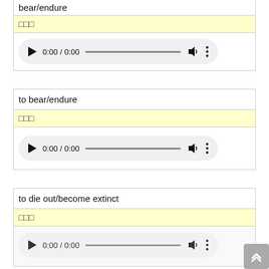bear/endure
□□□
[Figure (other): Audio player showing 0:00 / 0:00]
to bear/endure
□□□
[Figure (other): Audio player showing 0:00 / 0:00]
to die out/become extinct
□□□
[Figure (other): Audio player showing 0:00 / 0:00 (partial)]